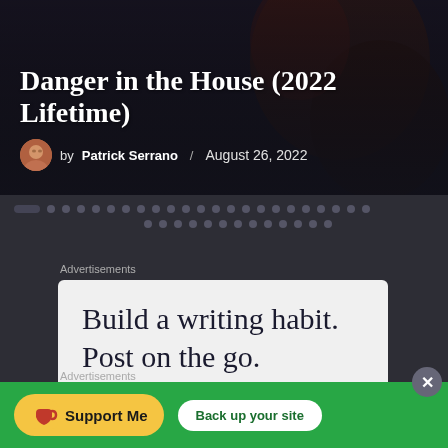[Figure (screenshot): Hero image for article 'Danger in the House (2022 Lifetime)' with dark cinematic background and overlay]
Danger in the House (2022 Lifetime)
by Patrick Serrano / August 26, 2022
[Figure (infographic): Pagination dots row with one active pill-shaped dot and many smaller dots]
Advertisements
[Figure (screenshot): Advertisement card: 'Build a writing habit. Post on the go.']
Advertisements
[Figure (infographic): Bottom banner: yellow 'Support Me' button with coffee cup icon and white 'Back up your site' button on green background]